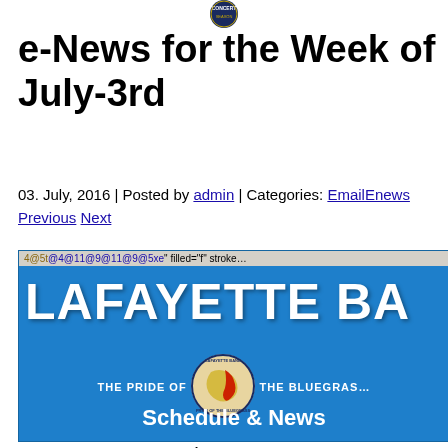[Figure (logo): Lafayette Band concert season circular logo at top center]
e-News for the Week of July-3rd
03. July, 2016 | Posted by admin | Categories: EmailEnews
Previous Next
[Figure (screenshot): Lafayette Band blue banner with text '4@5t@4@11@9@11@9@5xe filled=f stroke...' followed by LAFAYETTE BA in large letters, a circular emblem saying PRIDE OF THE BLUEGRASS 2014 CONCERT SEASON, THE PRIDE OF ... THE BLUEGRAS..., and Schedule & News]
For the week of July 3rd